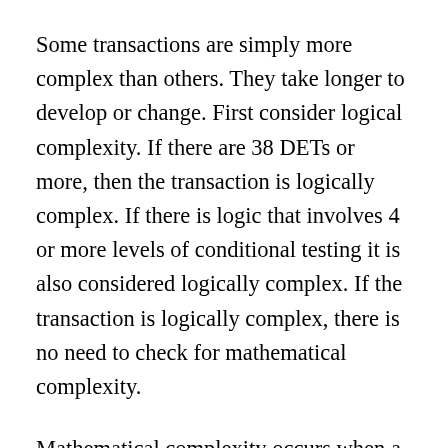Some transactions are simply more complex than others. They take longer to develop or change. First consider logical complexity. If there are 38 DETs or more, then the transaction is logically complex. If there is logic that involves 4 or more levels of conditional testing it is also considered logically complex. If the transaction is logically complex, there is no need to check for mathematical complexity.
Mathematical complexity occurs when a transaction utilizes complex mathematical algorithms. This is typical of scientific applications. Many business applications also